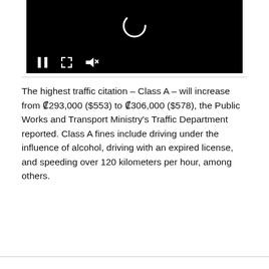[Figure (screenshot): Video player with black background, loading spinner icon, and playback controls (pause, fullscreen, mute) at the bottom.]
The highest traffic citation – Class A – will increase from ₡293,000 ($553) to ₡306,000 ($578), the Public Works and Transport Ministry's Traffic Department reported. Class A fines include driving under the influence of alcohol, driving with an expired license, and speeding over 120 kilometers per hour, among others.